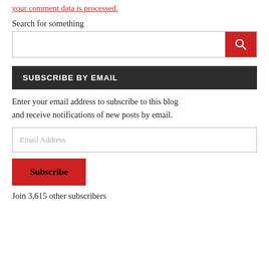your comment data is processed.
Search for something
SUBSCRIBE BY EMAIL
Enter your email address to subscribe to this blog and receive notifications of new posts by email.
Email Address
Subscribe
Join 3,615 other subscribers